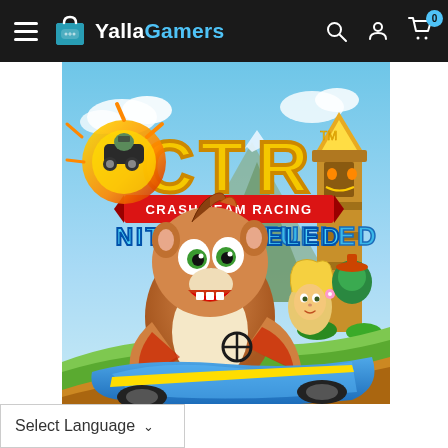YallaGamers navigation bar with hamburger menu, logo, search, account, and cart icons
[Figure (photo): CTR Crash Team Racing Nitro-Fueled game cover art showing Crash Bandicoot driving a blue kart with other characters, explosions, and a tropical/jungle environment background]
Select Language